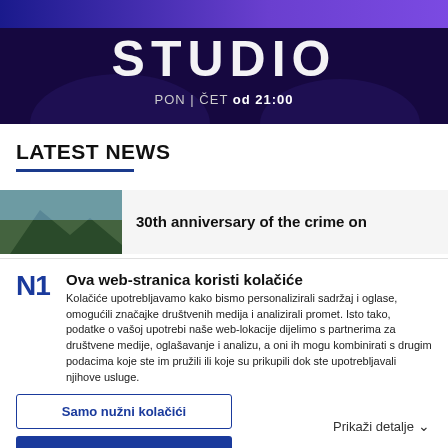[Figure (screenshot): Purple/blue gradient top banner bar]
[Figure (screenshot): Dark background studio TV show banner with large text STUDIO and subtitle PON | ČET od 21:00]
LATEST NEWS
[Figure (photo): Mountain/landscape thumbnail image next to news headline]
30th anniversary of the crime on
Ova web-stranica koristi kolačiće
Kolačiće upotrebljavamo kako bismo personalizirali sadržaj i oglase, omogućili značajke društvenih medija i analizirali promet. Isto tako, podatke o vašoj upotrebi naše web-lokacije dijelimo s partnerima za društvene medije, oglašavanje i analizu, a oni ih mogu kombinirati s drugim podacima koje ste im pružili ili koje su prikupili dok ste upotrebljavali njihove usluge.
Samo nužni kolačići
Omogući sve kolačiće
Prikaži detalje